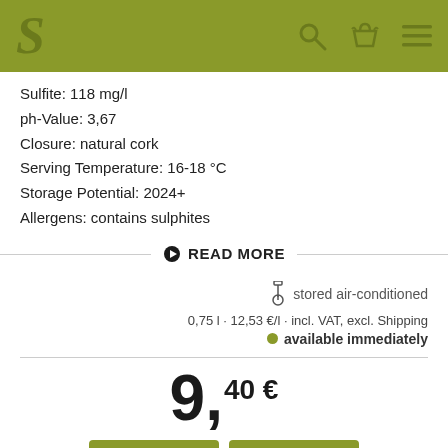S [logo] [search icon] [basket icon] [menu icon]
Sulfite: 118 mg/l
ph-Value: 3,67
Closure: natural cork
Serving Temperature: 16-18 °C
Storage Potential: 2024+
Allergens: contains sulphites
▶ READ MORE
stored air-conditioned
0,75 l · 12,53 €/l · incl. VAT, excl. Shipping
● available immediately
9,40 €